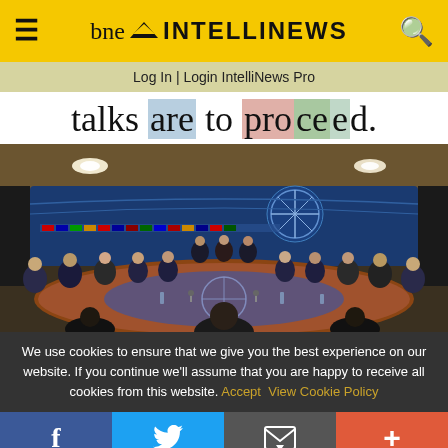bne INTELLINEWS
Log In | Login IntelliNews Pro
talks are to proceed.
[Figure (photo): NATO council meeting room with delegates seated in a large oval arrangement, NATO logo banner visible in background]
We use cookies to ensure that we give you the best experience on our website. If you continue we'll assume that you are happy to receive all cookies from this website. Accept  View Cookie Policy
f  Twitter  Email  +